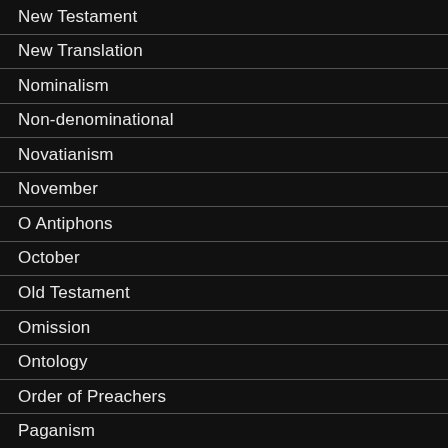New Testament
New Translation
Nominalism
Non-denominational
Novatianism
November
O Antiphons
October
Old Testament
Omission
Ontology
Order of Preachers
Paganism